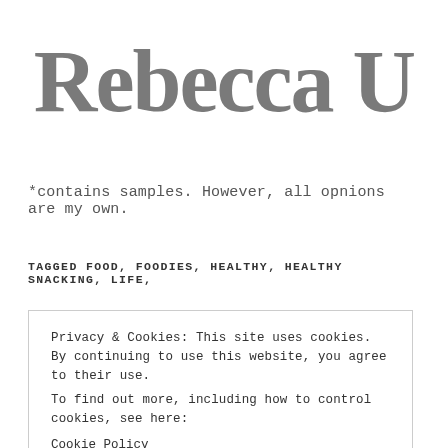Rebecca U
*contains samples. However, all opnions are my own.
TAGGED FOOD, FOODIES, HEALTHY, HEALTHY SNACKING, LIFE,
Privacy & Cookies: This site uses cookies. By continuing to use this website, you agree to their use.
To find out more, including how to control cookies, see here:
Cookie Policy
Close and accept
Related